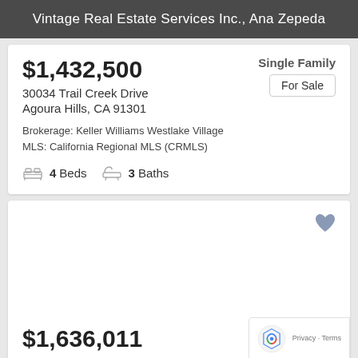Vintage Real Estate Services Inc., Ana Zepeda
$1,432,500
30034 Trail Creek Drive
Agoura Hills, CA 91301
Brokerage: Keller Williams Westlake Village
MLS: California Regional MLS (CRMLS)
4 Beds  3 Baths
Single Family
For Sale
$1,636,011  Single Family